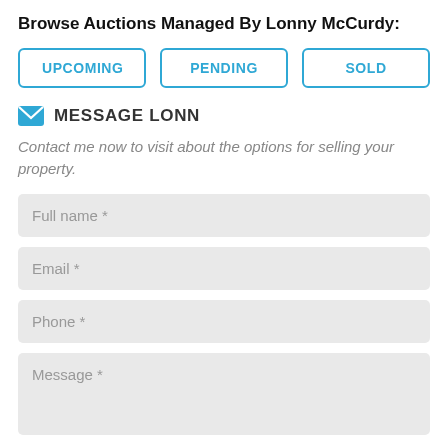Browse Auctions Managed By Lonny McCurdy:
UPCOMING
PENDING
SOLD
MESSAGE LONN
Contact me now to visit about the options for selling your property.
Full name *
Email *
Phone *
Message *